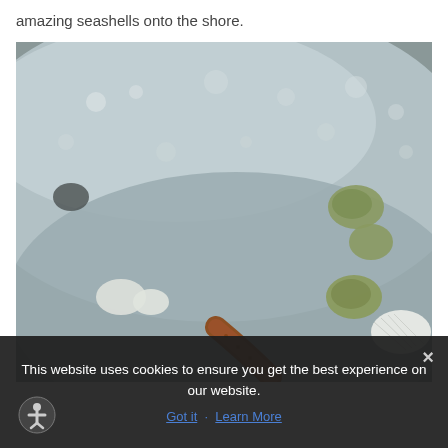amazing seashells onto the shore.
[Figure (photo): Close-up photograph of ocean waves washing seashells, including white clam shells, green-tinged shells, and a starfish arm, onto a sandy beach shore.]
This website uses cookies to ensure you get the best experience on our website.
Got it   Learn More